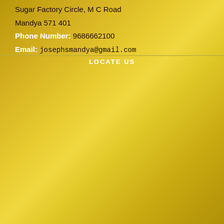Sugar Factory Circle, M C Road
Mandya 571 401
Phone Number: 9686662100
Email: josephsmandya@gmail.com
LOCATE US
[Figure (map): Map area showing location near Sugar Factory Circle, M C Road, Mandya 571 401]